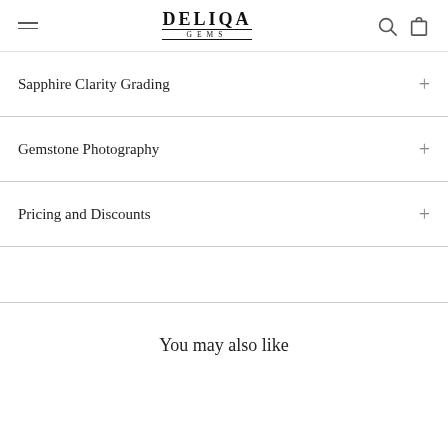DELIQA GEMS
Sapphire Clarity Grading
Gemstone Photography
Pricing and Discounts
You may also like